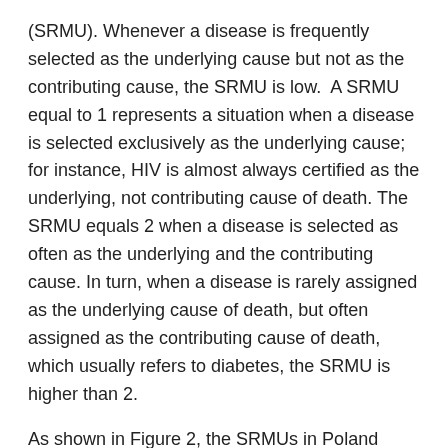(SRMU). Whenever a disease is frequently selected as the underlying cause but not as the contributing cause, the SRMU is low.  A SRMU equal to 1 represents a situation when a disease is selected exclusively as the underlying cause; for instance, HIV is almost always certified as the underlying, not contributing cause of death. The SRMU equals 2 when a disease is selected as often as the underlying and the contributing cause. In turn, when a disease is rarely assigned as the underlying cause of death, but often assigned as the contributing cause of death, which usually refers to diabetes, the SRMU is higher than 2.
As shown in Figure 2, the SRMUs in Poland turned out to be the highest for the following ICD-10 chapters:
diseases of the blood and blood-forming organs –